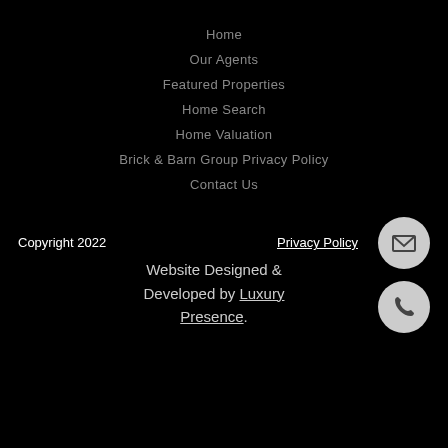Home
Our Agents
Featured Properties
Home Search
Home Valuation
Brick & Barn Group Privacy Policy
Contact Us
Copyright 2022
Privacy Policy
Website Designed & Developed by Luxury Presence.
[Figure (illustration): Two circular icon buttons: an envelope/email icon and a phone icon, both dark symbols on light grey circular backgrounds]
Copyright 2022    Privacy Policy